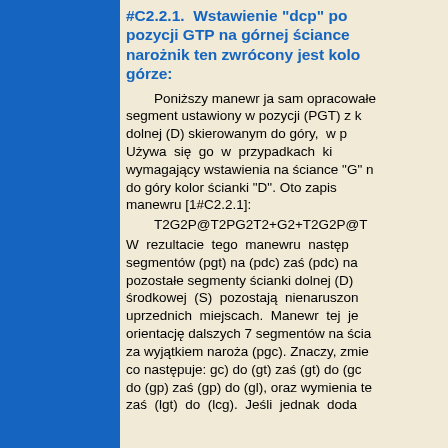#C2.2.1. Wstawienie "dcp" pozycji GTP na górnej ściance narożnik ten zwrócony jest kolo górze:
Poniższy manewr ja sam opracowałe segment ustawiony w pozycji (PGT) z k dolnej (D) skierowanym do góry, w p Używa się go w przypadkach ki wymagający wstawienia na ściance "G" n do góry kolor ścianki "D". Oto zapis manewru [1#C2.2.1]: T2G2P@T2PG2T2+G2+T2G2P@T W rezultacie tego manewru następ segmentów (pgt) na (pdc) zaś (pdc) na pozostałe segmenty ścianki dolnej (D) środkowej (S) pozostają nienaruszon uprzednich miejscach. Manewr tej je orientację dalszych 7 segmentów na ścia za wyjątkiem naroża (pgc). Znaczy, zmie co następuje: gc) do (gt) zaś (gt) do (gc do (gp) zaś (gp) do (gl), oraz wymienia t zaś (lgt) do (lcg). Jeśli jednak doda